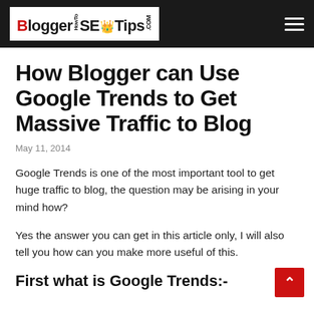BloggerHowToSEOTips.COM
How Blogger can Use Google Trends to Get Massive Traffic to Blog
May 11, 2014
Google Trends is one of the most important tool to get huge traffic to blog, the question may be arising in your mind how?
Yes the answer you can get in this article only, I will also tell you how can you make more useful of this.
First what is Google Trends:-